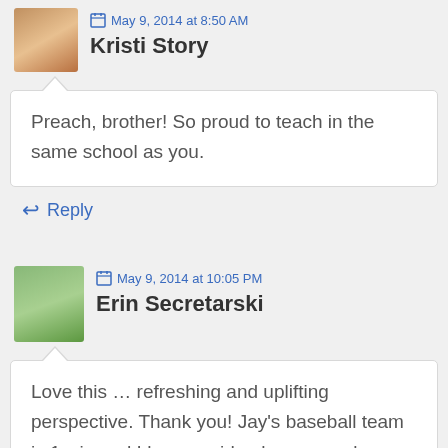May 9, 2014 at 8:50 AM
Kristi Story
Preach, brother! So proud to teach in the same school as you.
Reply
May 9, 2014 at 10:05 PM
Erin Secretarski
Love this … refreshing and uplifting perspective. Thank you! Jay's baseball team is 1 win and I have no idea how many losses this season…I recently read a blog that reminded me of what my mom